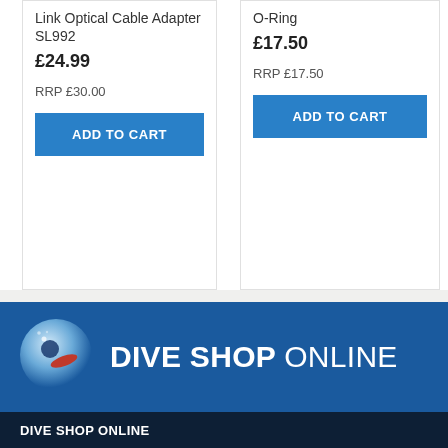Link Optical Cable Adapter SL992
£24.99
RRP £30.00
ADD TO CART
O-Ring
£17.50
RRP £17.50
ADD TO CART
[Figure (logo): Dive Shop Online logo: circular diver icon on blue background with text DIVE SHOP ONLINE]
DIVE SHOP ONLINE